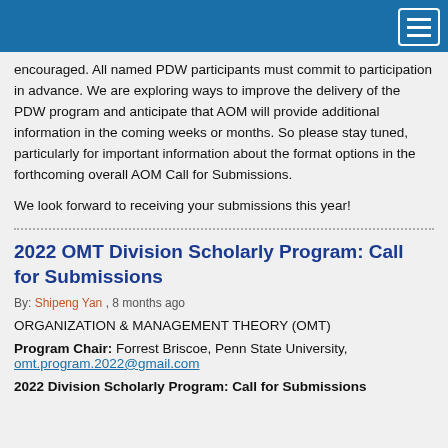encouraged. All named PDW participants must commit to participation in advance. We are exploring ways to improve the delivery of the PDW program and anticipate that AOM will provide additional information in the coming weeks or months. So please stay tuned, particularly for important information about the format options in the forthcoming overall AOM Call for Submissions.
We look forward to receiving your submissions this year!
2022 OMT Division Scholarly Program: Call for Submissions
By: Shipeng Yan , 8 months ago
ORGANIZATION & MANAGEMENT THEORY (OMT)
Program Chair: Forrest Briscoe, Penn State University, omt.program.2022@gmail.com
2022 Division Scholarly Program: Call for Submissions